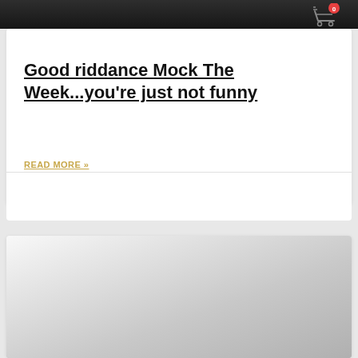[Figure (photo): Dark background image of people in suits, partially cropped at top of page with shopping cart icon overlay showing badge with number 0]
Good riddance Mock The Week...you’re just not funny
READ MORE »
03/08/2022
[Figure (photo): Partially visible image card with gradient gray background, bottom portion of page]